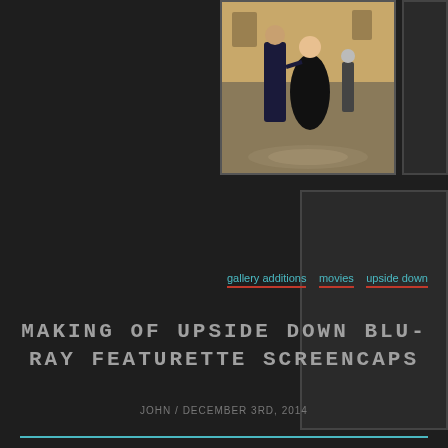[Figure (photo): Movie still from Upside Down showing a man and woman dancing in a ballroom setting]
[Figure (photo): Dark placeholder image box on the right side of the top row]
[Figure (photo): Large dark placeholder image box in the center/lower area]
gallery additions  movies  upside down
MAKING OF UPSIDE DOWN BLU-RAY FEATURETTE SCREENCAPS
JOHN / DECEMBER 3RD, 2014